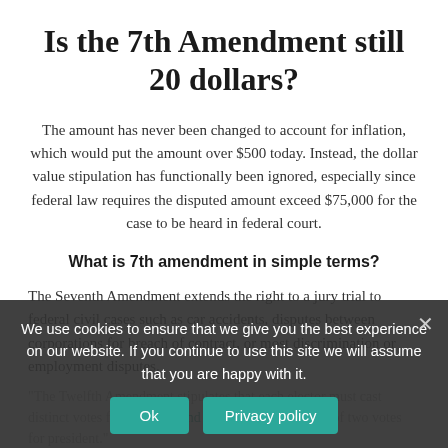Is the 7th Amendment still 20 dollars?
The amount has never been changed to account for inflation, which would put the amount over $500 today. Instead, the dollar value stipulation has functionally been ignored, especially since federal law requires the disputed amount exceed $75,000 for the case to be heard in federal court.
What is 7th amendment in simple terms?
The Seventh Amendment extends the right to a jury trial to federal civil cases such as car accidents, disputes between corporations for breach of contract, or most discrimination or employment disputes.
We use cookies to ensure that we give you the best experience on our website. If you continue to use this site we will assume that you are happy with it.
The Twelfth Amendment stipulates that each elector must cast distinct votes for president and vice president, instead of two votes for president.